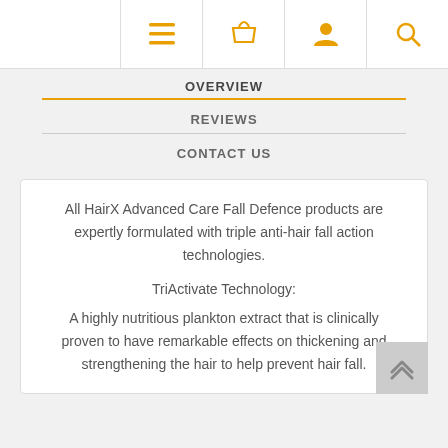[Figure (screenshot): Top navigation bar with four orange icons: hamburger menu, shopping basket, user/person, and search/magnifier]
OVERVIEW
REVIEWS
CONTACT US
All HairX Advanced Care Fall Defence products are expertly formulated with triple anti-hair fall action technologies.
TriActivate Technology:
A highly nutritious plankton extract that is clinically proven to have remarkable effects on thickening and strengthening the hair to help prevent hair fall.